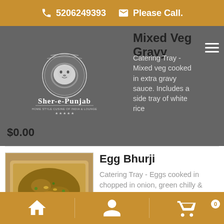5206249393  Please Call.
[Figure (screenshot): Sher-e-Punjab restaurant logo with lion illustration and text 'HOME STYLE CUSINE OF INDIA & LOUNGE' with stars]
Mixed Veg Gravy
Catering Tray - Mixed veg cooked in extra gravy sauce. Includes a side tray of white rice
$0.00
[Figure (photo): Photo of a catering tray with egg bhurji (scrambled egg dish with onions and spices)]
Egg Bhurji
Catering Tray - Eggs cooked in chopped in onion, green chilly & Spices.
$9.50
[Figure (photo): Photo of an empty silver aluminum catering tray]
Mushroom Matar
Catering Tray - Mushroom & green peas cooked with gravy & Indian Spices. Includes
Home | Profile | Cart (0)